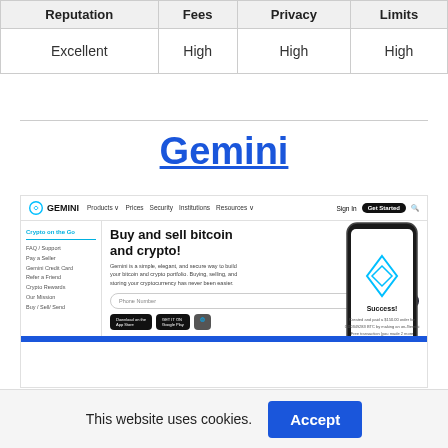| Reputation | Fees | Privacy | Limits |
| --- | --- | --- | --- |
| Excellent | High | High | High |
Gemini
[Figure (screenshot): Screenshot of the Gemini cryptocurrency exchange website showing navigation bar, 'Buy and sell bitcoin and crypto!' headline, descriptive text, phone number input, 'Text me the app' button, app store badges, and a phone mockup showing 'Success!' screen.]
This website uses cookies.